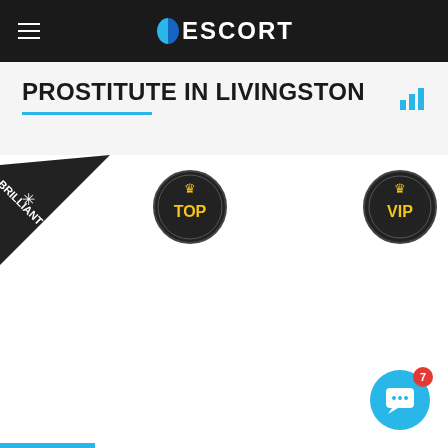ESCORT
PROSTITUTE IN LIVINGSTON
[Figure (infographic): Three listing badge overlays: BRILLIANT diagonal ribbon badge on top-left, TOP circular badge in center, VIP circular badge on right. Also a chat widget button bottom-right with notification badge showing 7.]